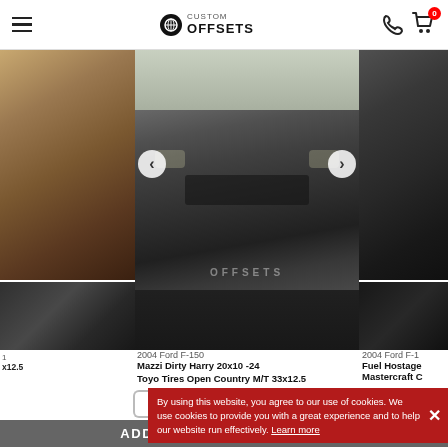Custom Offsets
[Figure (photo): Carousel of truck photos. Center: 2004 Ford F-150 dark gray truck front view. Left partial: brown/tan truck side. Right partial: black truck rear.]
2004 Ford F-150
Mazzi Dirty Harry 20x10 -24
Toyo Tires Open Country M/T 33x12.5
2004 Ford F-1
Fuel Hostage
Mastercraft C
x12.5
View Truck
By using this website, you agree to our use of cookies. We use cookies to provide you with a great experience and to help our website run effectively. Learn more
ADDITIONAL INFORMATION
Do 22x12 -44 wheels on 37"x13.5" tires fit on a 2004 Ford F-150 4WD with Suspension Lift 9"?